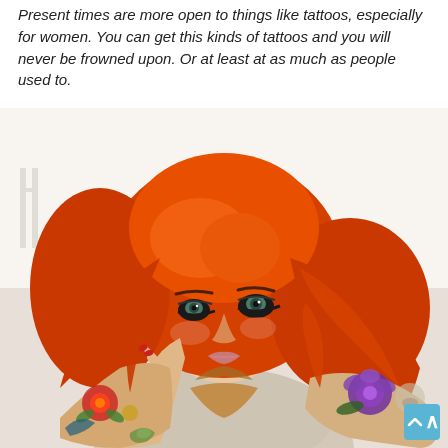Present times are more open to things like tattoos, especially for women. You can get this kinds of tattoos and you will never be frowned upon. Or at least at as much as people used to.
[Figure (photo): A woman with bright orange/red hair and extensive tattoo sleeves on both arms, posing with hands near her face. She has bold eye makeup and visible colorful tattoos including flowers, birds, and other designs.]